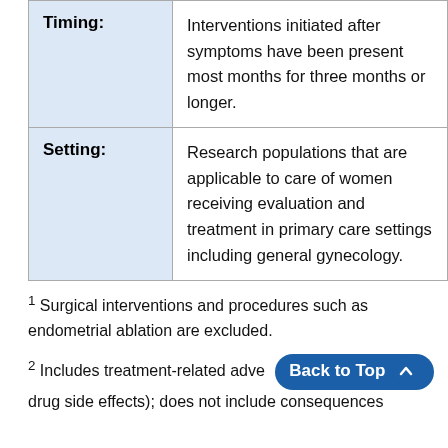|  |  |
| --- | --- |
| Timing: | Interventions initiated after symptoms have been present most months for three months or longer. |
| Setting: | Research populations that are applicable to care of women receiving evaluation and treatment in primary care settings including general gynecology. |
1 Surgical interventions and procedures such as endometrial ablation are excluded.
2 Includes treatment-related adve [Back to Top] drug side effects); does not include consequences